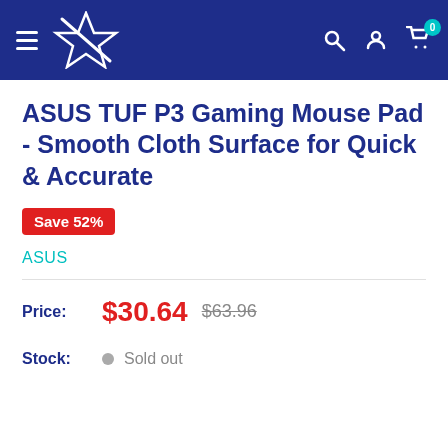Navigation header with logo, hamburger menu, search, account, and cart (0 items)
ASUS TUF P3 Gaming Mouse Pad - Smooth Cloth Surface for Quick & Accurate
Save 52%
ASUS
Price: $30.64  $63.96
Stock: Sold out